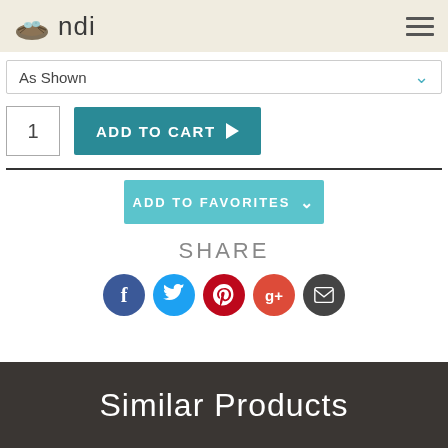ndi
As Shown
1
ADD TO CART
ADD TO FAVORITES
SHARE
Similar Products